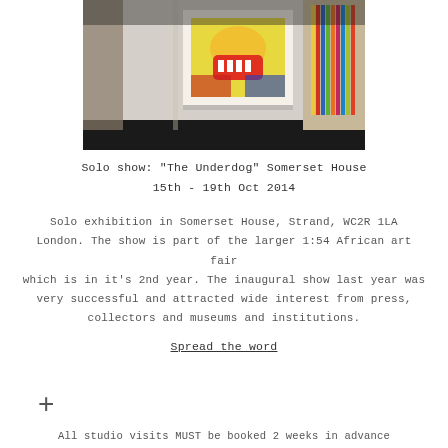[Figure (photo): Interior of an art gallery showing colorful artworks on white walls, photographed in a moody dark-toned style.]
Solo show: "The Underdog" Somerset House
15th - 19th Oct 2014
Solo exhibition in Somerset House, Strand, WC2R 1LA London. The show is part of the larger 1:54 African art fair which is in it's 2nd year. The inaugural show last year was very successful and attracted wide interest from press, collectors and museums and institutions.
Spread the word
All studio visits MUST be booked 2 weeks in advance